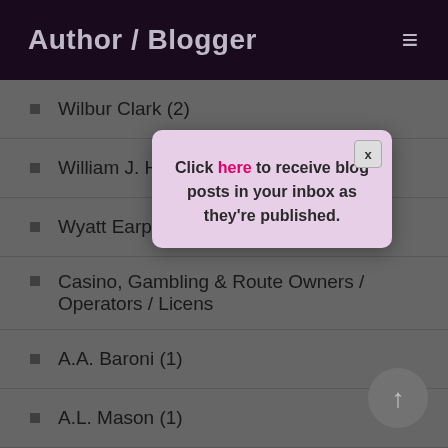Author / Blogger
Wilbur Clark (2)
William J. Hacke…
Wyatt Earp (1)
Casino, Gambling … Route Owners / Operators / Licens…
A.A. Baroni (1)
A.L. Mason (1)
Abe F. Brown (1)
[Figure (screenshot): Modal popup overlay with close button (x) and text: Click here to receive blog posts in your inbox as they're published.]